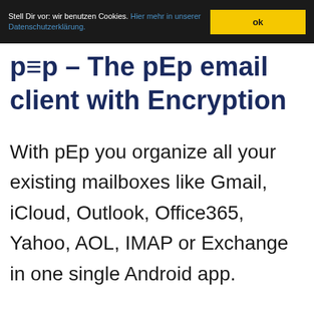Stell Dir vor: wir benutzen Cookies. Hier mehr in unserer Datenschutzerklärung. ok
p≡p – The pEp email client with Encryption
With pEp you organize all your existing mailboxes like Gmail, iCloud, Outlook, Office365, Yahoo, AOL, IMAP or Exchange in one single Android app.